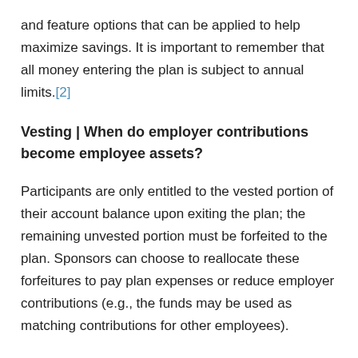and feature options that can be applied to help maximize savings. It is important to remember that all money entering the plan is subject to annual limits.[2]
Vesting | When do employer contributions become employee assets?
Participants are only entitled to the vested portion of their account balance upon exiting the plan; the remaining unvested portion must be forfeited to the plan. Sponsors can choose to reallocate these forfeitures to pay plan expenses or reduce employer contributions (e.g., the funds may be used as matching contributions for other employees).
Employee contributions and most safe harbor contributions must always be 100% immediately vested. However, plan sponsors may elect a vesting schedule appropriate to specific company needs for